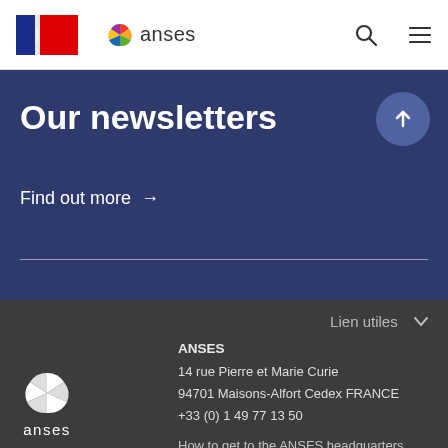[Figure (logo): French government logo (blue-white-red flag emblem) and ANSES logo with colorful pinwheel icon in the page header]
[Figure (logo): Search icon and hamburger menu icon in top right of header]
Our newsletters
Find out more →
Lien utiles ∨
ANSES
14 rue Pierre et Marie Curie
94701 Maisons-Alfort Cedex FRANCE
+33 (0) 1 49 77 13 50
How to get to the ANSES headquarters
[Figure (logo): ANSES white pinwheel logo with 'anses' text in white in the dark footer]